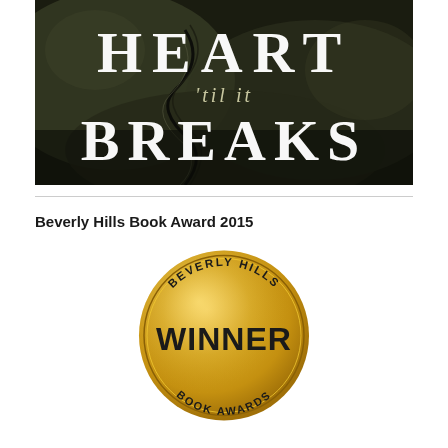[Figure (illustration): Book cover image showing cracked rock/stone texture background in dark olive/black tones with large white serif text reading 'HEART 'til it BREAKS']
Beverly Hills Book Award 2015
[Figure (logo): Beverly Hills Book Awards gold medallion seal with text 'BEVERLY HILLS' at top, 'WINNER' in large bold letters in center, 'BOOK AWARDS' at bottom, circular gold gradient badge]